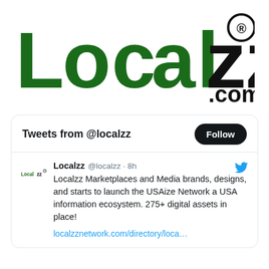[Figure (logo): Localzz.com logo with 'Local' in dark green and 'zz' in black, followed by a registered trademark symbol and '.com' in black]
Tweets from @localzz
Localzz @localzz · 8h
Localzz Marketplaces and Media brands, designs, and starts to launch the USAize Network a USA information ecosystem. 275+ digital assets in place!
localzznetwork.com/directory/loca…